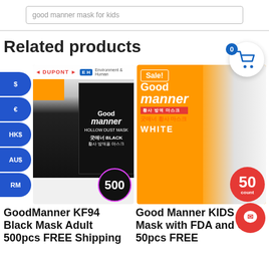[Figure (screenshot): Search bar with text 'good manner mask for kids']
Related products
[Figure (photo): GoodManner KF94 Black Mask Adult 500pcs product image with Dupont and EH logos, child wearing black mask, product box with '500' badge]
[Figure (photo): Good Manner KIDS Mask WHITE product image with Sale! badge, orange packaging, child illustration, girl wearing white mask, '50 count' badge]
GoodManner KF94 Black Mask Adult 500pcs FREE Shipping
Good Manner KIDS Mask with FDA and CE 50pcs FREE